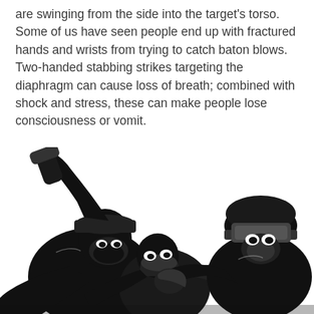are swinging from the side into the target's torso. Some of us have seen people end up with fractured hands and wrists from trying to catch baton blows. Two-handed stabbing strikes targeting the diaphragm can cause loss of breath; combined with shock and stress, these can make people lose consciousness or vomit.
[Figure (illustration): Black and white illustration showing figures in a confrontation: one figure wearing a mask and raising a weapon overhead, another figure in riot gear/helmet, and a third figure caught between them. High-contrast graphic style.]